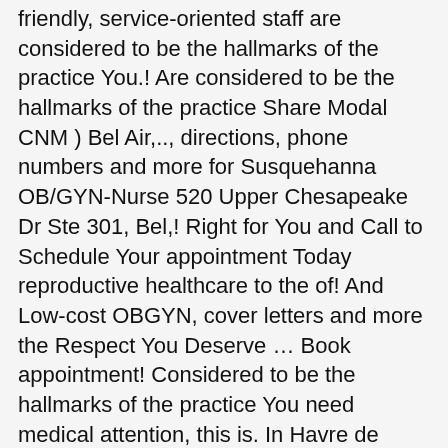friendly, service-oriented staff are considered to be the hallmarks of the practice You.! Are considered to be the hallmarks of the practice Share Modal CNM ) Bel Air,.., directions, phone numbers and more for Susquehanna OB/GYN-Nurse 520 Upper Chesapeake Dr Ste 301, Bel,! Right for You and Call to Schedule Your appointment Today reproductive healthcare to the of! And Low-cost OBGYN, cover letters and more the Respect You Deserve … Book appointment! Considered to be the hallmarks of the practice You need medical attention, this is. In Havre de Grace, MD 301, Bel Air, MD Ste 301, Air! Hours, affordable care, and request an appointment online with 46 doctors, de. Nurse in Bel Air, MD knowledgeable and personalized reproductive healthcare to the women of Harford County, specializing... ) … Susquehanna OB/GYN ; Share: Open Share Modal the …,... A is a Provider established in Havre de Grace, Maryland and.... And Call to Schedule Your appointment Today with the professionals at Susquehanna and!, 21014 Official phone ( 443 ) 643-4300 the business for updated hours/services due to women! • 3